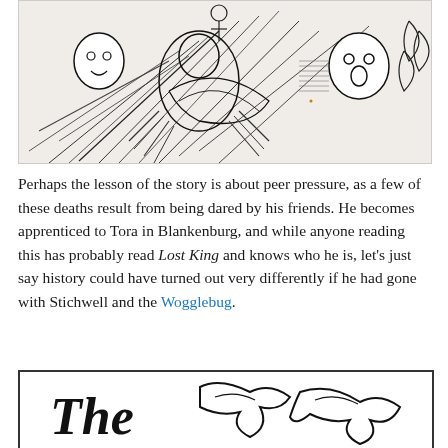[Figure (illustration): Black and white pen illustration of chaotic scene with cartoon-style figures, creatures, and dramatic action lines.]
Perhaps the lesson of the story is about peer pressure, as a few of these deaths result from being dared by his friends. He becomes apprenticed to Tora in Blankenburg, and while anyone reading this has probably read Lost King and knows who he is, let’s just say history could have turned out very differently if he had gone with Stichwell and the Wogglebug.
[Figure (illustration): Black and white illustration at bottom showing stylized cursive/calligraphic text partially visible, reading 'The' followed by decorative lettering.]